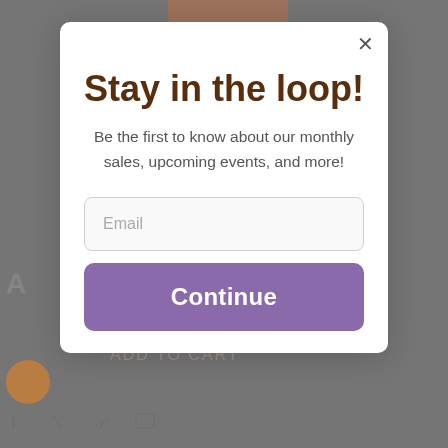Stay in the loop!
Be the first to know about our monthly sales, upcoming events, and more!
Email
Continue